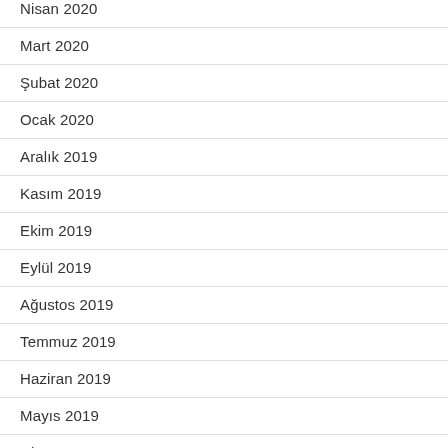Nisan 2020
Mart 2020
Şubat 2020
Ocak 2020
Aralık 2019
Kasım 2019
Ekim 2019
Eylül 2019
Ağustos 2019
Temmuz 2019
Haziran 2019
Mayıs 2019
Nisan 2019
Mart 2019